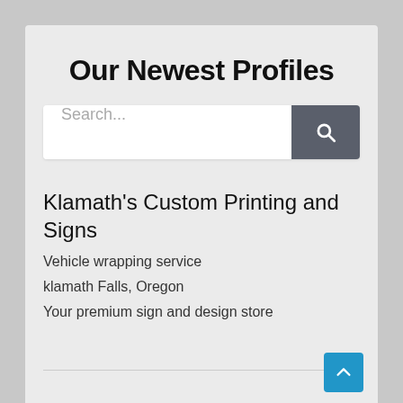Our Newest Profiles
[Figure (screenshot): Search bar with text input placeholder 'Search...' and a dark grey search button with magnifying glass icon]
Klamath's Custom Printing and Signs
Vehicle wrapping service
klamath Falls, Oregon
Your premium sign and design store